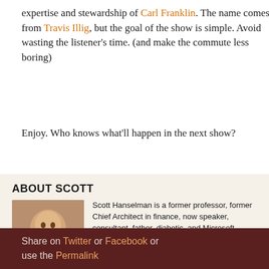expertise and stewardship of Carl Franklin. The name comes from Travis Illig, but the goal of the show is simple. Avoid wasting the listener's time. (and make the commute less boring)
Enjoy. Who knows what'll happen in the next show?
ABOUT SCOTT
[Figure (photo): Photo of Scott Hanselman smiling]
Scott Hanselman is a former professor, former Chief Architect in finance, now speaker, consultant, father, diabetic, and Microsoft employee. He is a failed stand-up comic, a cornrower, and a book author.
About   Newsletter
This website uses cookies to ensure you get the best experience on our website. Learn more
Got it!
Share on Twitter or Facebook or use the Permalink